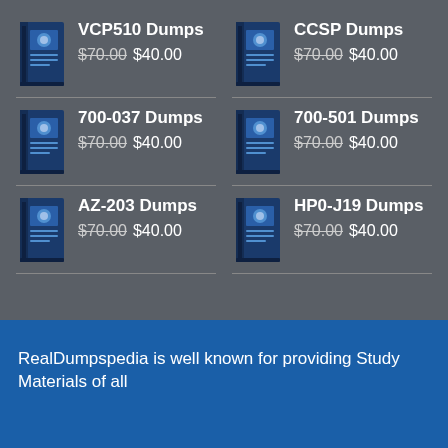VCP510 Dumps $70.00 $40.00
CCSP Dumps $70.00 $40.00
700-037 Dumps $70.00 $40.00
700-501 Dumps $70.00 $40.00
AZ-203 Dumps $70.00 $40.00
HP0-J19 Dumps $70.00 $40.00
RealDumpspedia is well known for providing Study Materials of all